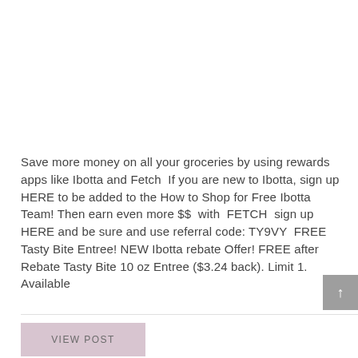Save more money on all your groceries by using rewards apps like Ibotta and Fetch  If you are new to Ibotta, sign up HERE to be added to the How to Shop for Free Ibotta Team! Then earn even more $$  with  FETCH  sign up HERE and be sure and use referral code: TY9VY  FREE Tasty Bite Entree! NEW Ibotta rebate Offer! FREE after Rebate Tasty Bite 10 oz Entree ($3.24 back). Limit 1. Available